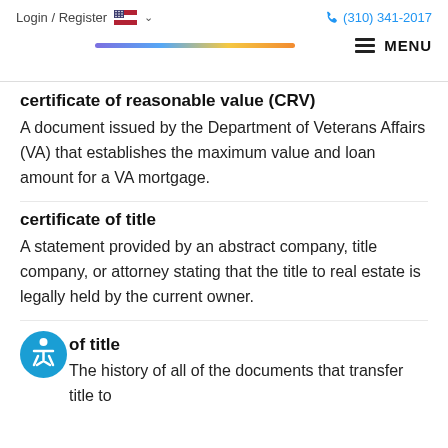Login / Register  🇺🇸 ∨   (310) 341-2017
[Figure (infographic): Rainbow gradient horizontal bar used as a decorative separator, with a hamburger menu icon and MENU text on the right.]
certificate of reasonable value (CRV)
A document issued by the Department of Veterans Affairs (VA) that establishes the maximum value and loan amount for a VA mortgage.
certificate of title
A statement provided by an abstract company, title company, or attorney stating that the title to real estate is legally held by the current owner.
of title
The history of all of the documents that transfer title to